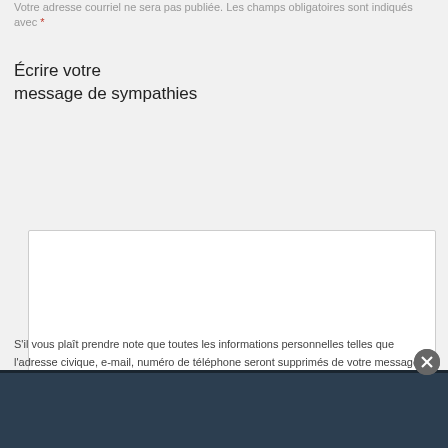Votre adresse courriel ne sera pas publiée. Les champs obligatoires sont indiqués avec *
Écrire votre message de sympathies
[Figure (screenshot): Empty textarea input box with a resize handle at bottom right]
S'il vous plaît prendre note que toutes les informations personnelles telles que l'adresse civique, e-mail, numéro de téléphone seront supprimés de votre message de sympathie, afin de protéger votre vie privée. De plus, tout message contenant des commentaires non-respectueux ou utilisant un langage inapproprié ou toute forme de publicité sera également supprimé..
[Figure (screenshot): Dark navy footer bar at bottom of page with a close (X) button circle at top right corner]